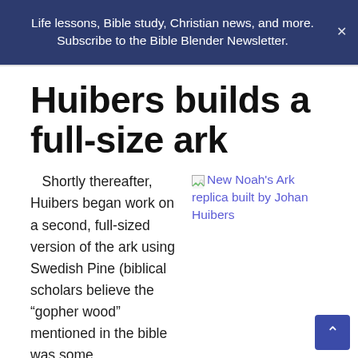Life lessons, Bible study, Christian news, and more. Subscribe to the Bible Blender Newsletter.
Huibers builds a full-size ark
Shortly thereafter, Huibers began work on a second, full-sized version of the ark using Swedish Pine (biblical scholars believe the “gopher wood” mentioned in the bible was some
[Figure (photo): New Noah's Ark replica built by Johan Huibers]